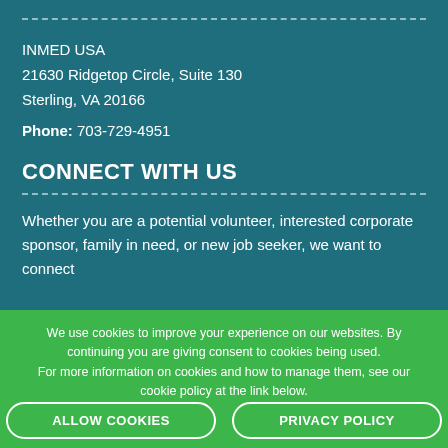INMED USA
21630 Ridgetop Circle, Suite 130
Sterling, VA 20166
Phone: 703-729-4951
CONNECT WITH US
Whether you are a potential volunteer, interested corporate sponsor, family in need, or new job seeker, we want to connect
We use cookies to improve your experience on our websites. By continuing you are giving consent to cookies being used. For more information on cookies and how to manage them, see our cookie policy at the link below.
ALLOW COOKIES
PRIVACY POLICY